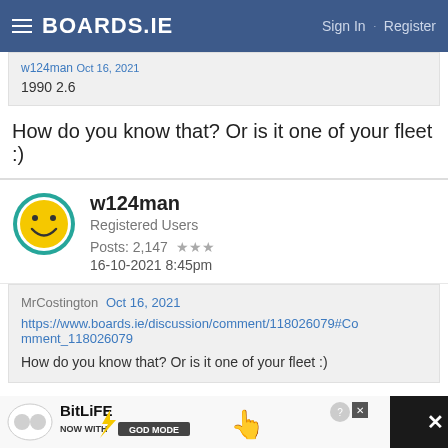BOARDS.IE  Sign In · Register
1990 2.6
How do you know that? Or is it one of your fleet :)
w124man
Registered Users
Posts: 2,147 ★★★
16-10-2021 8:45pm
MrCostington  Oct 16, 2021
https://www.boards.ie/discussion/comment/118026079#Comment_118026079
How do you know that? Or is it one of your fleet :)
[Figure (screenshot): BitLife ad banner - NOW WITH GOD MODE]